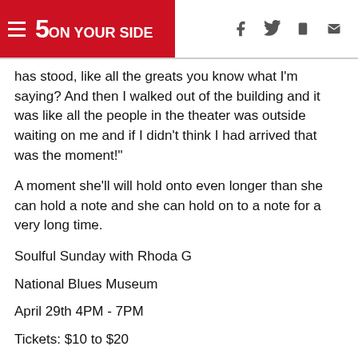5 ON YOUR SIDE
has stood, like all the greats you know what I'm saying? And then I walked out of the building and it was like all the people in the theater was outside waiting on me and if I didn't think I had arrived that was the moment!"
A moment she'll will hold onto even longer than she can hold a note and she can hold on to a note for a very long time.
Soulful Sunday with Rhoda G
National Blues Museum
April 29th 4PM - 7PM
Tickets: $10 to $20
https://www.nationalbluesmuseum.org/events/live-music/
https://www.rhodag.com/